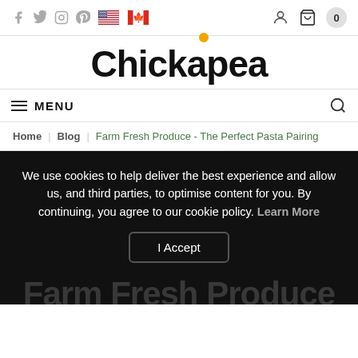Social icons, flag icons, user icon, basket icon, cart count: 0
Chickapea
MENU
Home | Blog | Farm Fresh Produce - The Perfect Pasta Pairing
We use cookies to help deliver the best experience and allow us, and third parties, to optimise content for you. By continuing, you agree to our cookie policy. Learn More
I Accept
Farm Fresh Produce